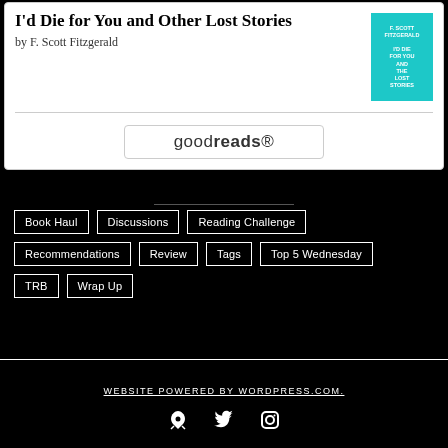I'd Die for You and Other Lost Stories
by F. Scott Fitzgerald
[Figure (other): Book cover for I'd Die for You and Other Lost Stories by F. Scott Fitzgerald, teal/turquoise background with white text]
[Figure (logo): Goodreads button/logo with border]
Book Haul
Discussions
Reading Challenge
Recommendations
Review
Tags
Top 5 Wednesday
TRB
Wrap Up
WEBSITE POWERED BY WORDPRESS.COM.